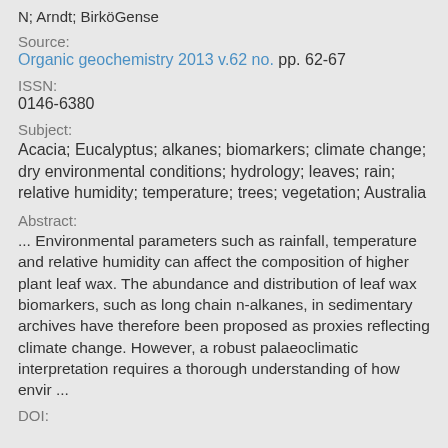N; Arndt; BirköGense
Source:
Organic geochemistry 2013 v.62 no. pp. 62-67
ISSN:
0146-6380
Subject:
Acacia; Eucalyptus; alkanes; biomarkers; climate change; dry environmental conditions; hydrology; leaves; rain; relative humidity; temperature; trees; vegetation; Australia
Abstract:
... Environmental parameters such as rainfall, temperature and relative humidity can affect the composition of higher plant leaf wax. The abundance and distribution of leaf wax biomarkers, such as long chain n-alkanes, in sedimentary archives have therefore been proposed as proxies reflecting climate change. However, a robust palaeoclimatic interpretation requires a thorough understanding of how envir ...
DOI: